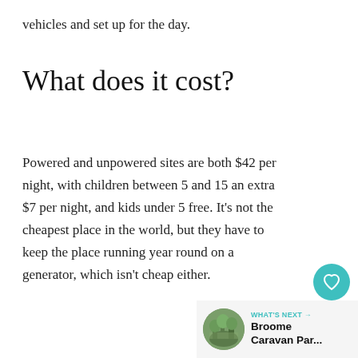vehicles and set up for the day.
What does it cost?
Powered and unpowered sites are both $42 per night, with children between 5 and 15 an extra $7 per night, and kids under 5 free. It’s not the cheapest place in the world, but they have to keep the place running year round on a generator, which isn’t cheap either.
[Figure (infographic): Teal circular heart/favourite button icon]
[Figure (infographic): White circular share/add button icon with shadow]
[Figure (infographic): What’s Next widget showing a circular thumbnail photo of trees/nature and text reading WHAT’S NEXT → Broome Caravan Par...]